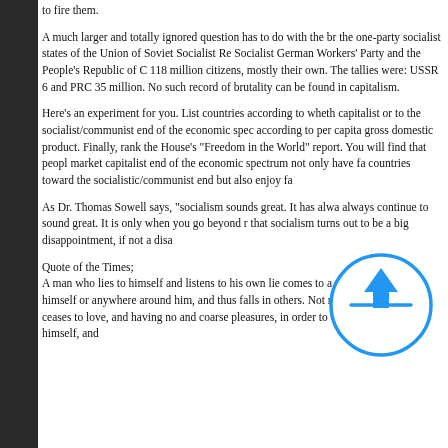to fire them.
A much larger and totally ignored question has to do with the br the one-party socialist states of the Union of Soviet Socialist Re Socialist German Workers' Party and the People's Republic of C 118 million citizens, mostly their own. The tallies were: USSR 6 and PRC 35 million. No such record of brutality can be found in capitalism.
Here's an experiment for you. List countries according to wheth capitalist or to the socialist/communist end of the economic spec according to per capita gross domestic product. Finally, rank the House's "Freedom in the World" report. You will find that peopl market capitalist end of the economic spectrum not only have fa countries toward the socialistic/communist end but also enjoy fa
As Dr. Thomas Sowell says, "socialism sounds great. It has alwa always continue to sound great. It is only when you go beyond r that socialism turns out to be a big disappointment, if not a disa
Quote of the Times;
A man who lies to himself and listens to his own lie comes to a p truth either in himself or anywhere around him, and thus falls in others. Not respecting anyone, he ceases to love, and having no and coarse pleasures, in order to occupy and amuse himself, and